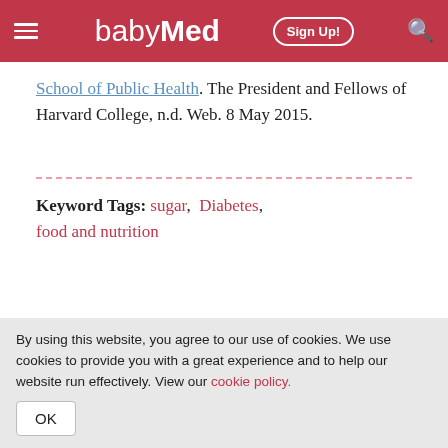babyMed | Sign Up!
School of Public Health. The President and Fellows of Harvard College, n.d. Web. 8 May 2015.
Keyword Tags: sugar, Diabetes, food and nutrition
By using this website, you agree to our use of cookies. We use cookies to provide you with a great experience and to help our website run effectively. View our cookie policy.